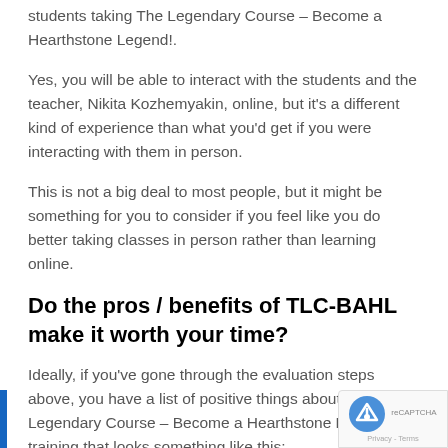students taking The Legendary Course – Become a Hearthstone Legend!.
Yes, you will be able to interact with the students and the teacher, Nikita Kozhemyakin, online, but it's a different kind of experience than what you'd get if you were interacting with them in person.
This is not a big deal to most people, but it might be something for you to consider if you feel like you do better taking classes in person rather than learning online.
Do the pros / benefits of TLC-BAHL make it worth your time?
Ideally, if you've gone through the evaluation steps above, you have a list of positive things about the The Legendary Course – Become a Hearthstone Legend training that looks something like this: